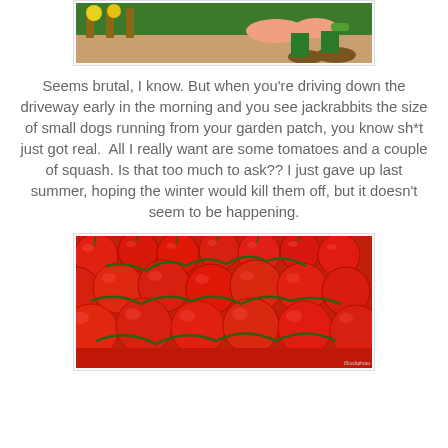[Figure (illustration): Cartoon illustration showing a character (appears to be a gardener or farmer figure) with animals, green background, partially cropped at top of page]
Seems brutal, I know. But when you're driving down the driveway early in the morning and you see jackrabbits the size of small dogs running from your garden patch, you know sh*t just got real.  All I really want are some tomatoes and a couple of squash. Is that too much to ask?? I just gave up last summer, hoping the winter would kill them off, but it doesn't seem to be happening.
[Figure (photo): Photograph of a large pile of red cherry tomatoes on the vine, filling the entire frame]